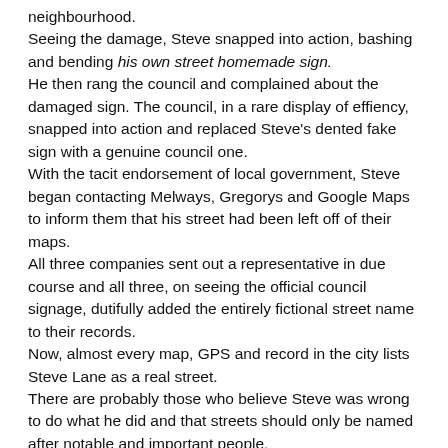neighbourhood. Seeing the damage, Steve snapped into action, bashing and bending his own street homemade sign. He then rang the council and complained about the damaged sign. The council, in a rare display of effiency, snapped into action and replaced Steve's dented fake sign with a genuine council one. With the tacit endorsement of local government, Steve began contacting Melways, Gregorys and Google Maps to inform them that his street had been left off of their maps. All three companies sent out a representative in due course and all three, on seeing the official council signage, dutifully added the entirely fictional street name to their records. Now, almost every map, GPS and record in the city lists Steve Lane as a real street. There are probably those who believe Steve was wrong to do what he did and that streets should only be named after notable and important people. Personally, after what he did, I think Steve is more than worthy.